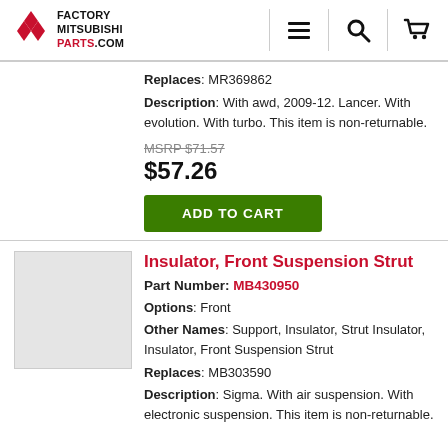[Figure (logo): Factory Mitsubishi Parts .com logo with Mitsubishi diamond symbol in red and navigation icons (hamburger menu, search, cart)]
Replaces: MR369862
Description: With awd, 2009-12. Lancer. With evolution. With turbo. This item is non-returnable.
MSRP $71.57
$57.26
ADD TO CART
Insulator, Front Suspension Strut
Part Number: MB430950
Options: Front
Other Names: Support, Insulator, Strut Insulator, Insulator, Front Suspension Strut
Replaces: MB303590
Description: Sigma. With air suspension. With electronic suspension. This item is non-returnable.